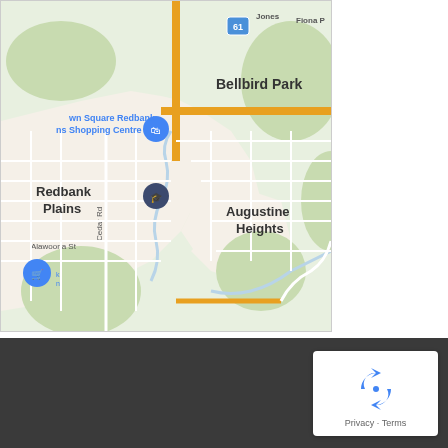[Figure (map): Google Maps screenshot showing Redbank Plains, Bellbird Park, and Augustine Heights suburbs in Queensland, Australia. Features roads including Cedar Rd, Alawoona St, Jones Rd, Fiona Rd, route 61 highway. Shows location markers for Town Square Redbank Plains Shopping Centre and a school marker. Map has white road network on green/beige background.]
[Figure (logo): Google reCAPTCHA logo/badge in white rounded rectangle box showing the reCAPTCHA circular arrows icon in blue, with 'Privacy · Terms' text below, on dark grey background bar.]